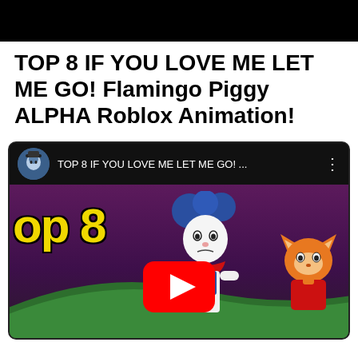[Figure (screenshot): Black header bar at the top of a mobile screen]
TOP 8 IF YOU LOVE ME LET ME GO! Flamingo Piggy ALPHA Roblox Animation!
[Figure (screenshot): YouTube video embed showing a Roblox animation thumbnail with the title 'TOP 8 IF YOU LOVE ME LET ME GO! ...' in the top bar, a clown/piggy character and a fox-like character on a dark purple and green hill background, with 'op 8' in yellow text on the left and a YouTube play button overlay in the center.]